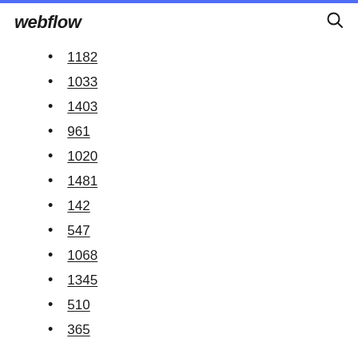webflow
1182
1033
1403
961
1020
1481
142
547
1068
1345
510
365